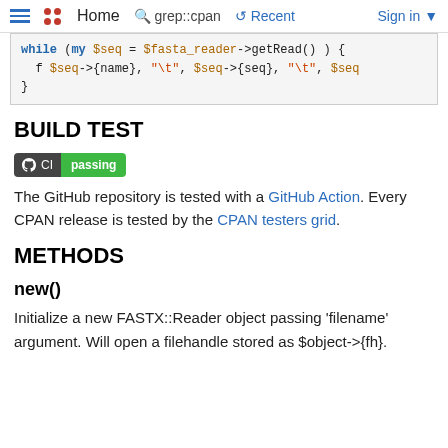≡  •• Home  🔍 grep::cpan  ↺ Recent  Sign in ▼
[Figure (screenshot): Code block showing Perl while loop with $seq variable and $fasta_reader->getRead() call]
BUILD TEST
[Figure (other): GitHub CI badge showing passing status]
The GitHub repository is tested with a GitHub Action. Every CPAN release is tested by the CPAN testers grid.
METHODS
new()
Initialize a new FASTX::Reader object passing 'filename' argument. Will open a filehandle stored as $object->{fh}.